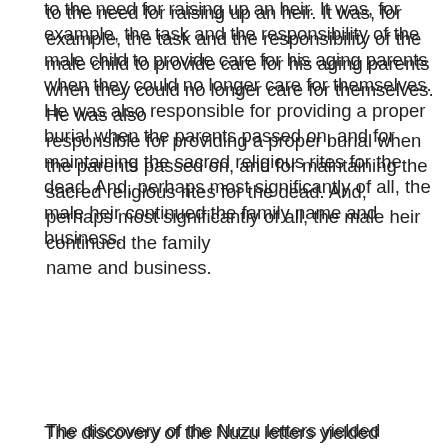to the need for raising up an heir. It was, for example, the task and the responsibility of the male child to provide care for his aging parents when they could no longer care for themselves. He was also responsible for providing a proper burial when the parents passed on, and for maintaining the sacred religious rites for the dead. And, perhaps most significantly of all, the male heir continued the family name and business.
The discovery of the Nuzu letters yielded knowledge of at least two methods by which a barren couple could procure an heir. The first method simply involved the adoption of one from outside the family who would then assume all the rights and responsibilities of a natural heir. In exchange, all the family properties would become his on the death of his adopted father. The risk one ran, however, in becoming such an adopted heir, was that the adoptive parents would later conceive and birth a natural son. In such a case, all rights and privileges of inheritance reverted to the natural child, and the adopted son, though he would not be left out of the inheritance entirely, became in effect just another servant in his master's